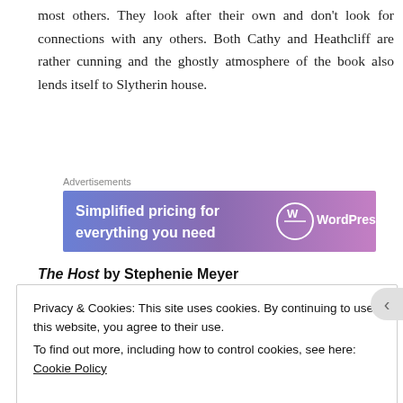most others. They look after their own and don't look for connections with any others. Both Cathy and Heathcliff are rather cunning and the ghostly atmosphere of the book also lends itself to Slytherin house.
Advertisements
[Figure (other): WordPress.com advertisement banner: 'Simplified pricing for everything you need' with WordPress logo on a blue-purple gradient background]
The Host by Stephenie Meyer
Privacy & Cookies: This site uses cookies. By continuing to use this website, you agree to their use.
To find out more, including how to control cookies, see here: Cookie Policy
Close and accept